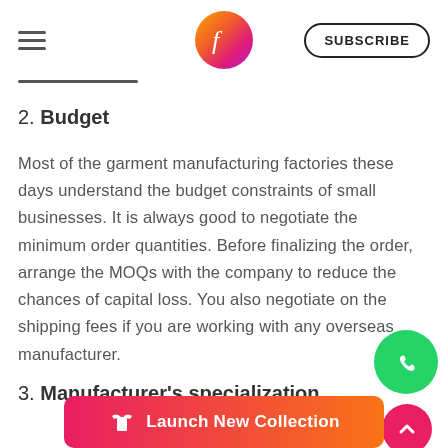SUBSCRIBE
2. Budget
Most of the garment manufacturing factories these days understand the budget constraints of small businesses. It is always good to negotiate the minimum order quantities. Before finalizing the order, arrange the MOQs with the company to reduce the chances of capital loss. You also negotiate on the shipping fees if you are working with any overseas manufacturer.
3. Manufacturer's specialization
[Figure (other): Launch New Collection button banner with shirt icon]